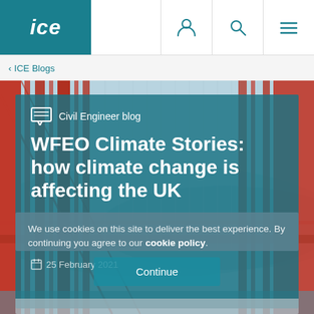ICE
< ICE Blogs
[Figure (photo): Hero image of a large red suspension bridge (Golden Gate style) with teal overlay panel containing blog category, title, date, and cookie notice. Background shows bridge cables and towers against a light blue sky.]
Civil Engineer blog
WFEO Climate Stories: how climate change is affecting the UK
25 February 2021
We use cookies on this site to deliver the best experience. By continuing you agree to our cookie policy.
Continue